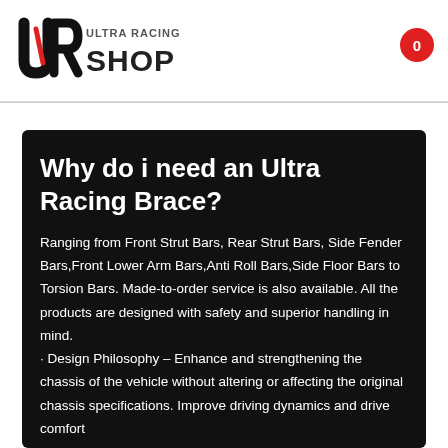[Figure (logo): Ultra Racing Shop logo — stylized 'UR' monogram in black with red accent, text 'ULTRA RACING SHOP' beside it]
0
Why do i need an Ultra Racing Brace?
Ranging from Front Strut Bars, Rear Strut Bars, Side Fender Bars,Front Lower Arm Bars,Anti Roll Bars,Side Floor Bars to Torsion Bars. Made-to-order service is also available. All the products are designed with safety and superior handling in mind. · Design Philosophy – Enhance and strengthening the chassis of the vehicle without altering or affecting the original chassis specifications. Improve driving dynamics and drive comfort